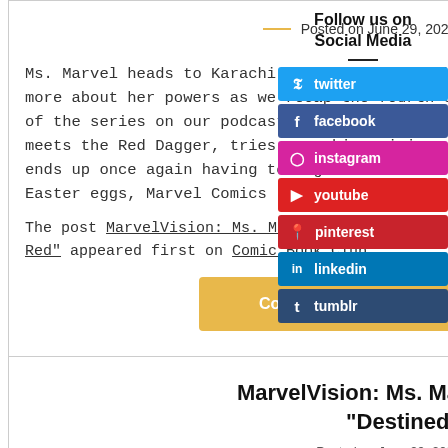Posted on June 29, 2022 by Alex
Ms. Marvel heads to Karachi and discovers a whole lot more about her powers as we recap the fourth episode of the series on our podcast. While in Pakistan, Kamala meets the Red Dagger, tries some biryani in a t ends up once again having to fight the Unsee Easter eggs, Marvel Comics [...]
The post MarvelVision: Ms. Marvel – Episode 4 Red" appeared first on Comic Book Club.
Continue reading
MarvelVision: Ms. Marvel – Epis "Destined"
Posted on June 29, 2022 by A
Follow us on Social Media
twitter
facebook
instagram
youtube
pinterest
linkedin
tumblr